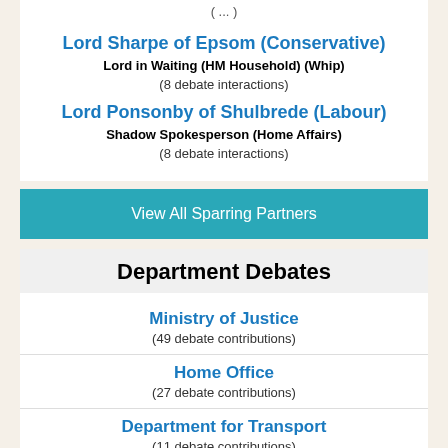(...)
Lord Sharpe of Epsom (Conservative)
Lord in Waiting (HM Household) (Whip)
(8 debate interactions)
Lord Ponsonby of Shulbrede (Labour)
Shadow Spokesperson (Home Affairs)
(8 debate interactions)
View All Sparring Partners
Department Debates
Ministry of Justice
(49 debate contributions)
Home Office
(27 debate contributions)
Department for Transport
(11 debate contributions)